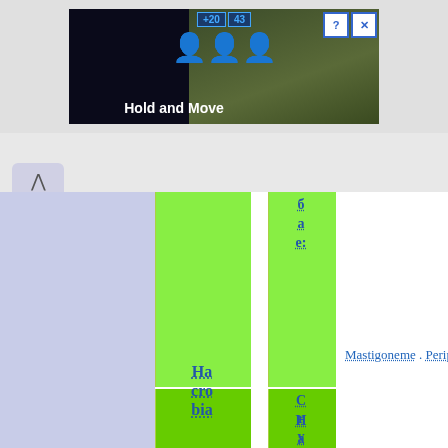[Figure (screenshot): Ad banner showing a dark background with 'Hold and Move' text, trees in background, score display '+20' and '43', person icon, with close/help buttons]
[Figure (screenshot): Wikipedia-style taxonomy table showing biological classification. Columns include a lavender sidebar, wide lime-green column with 'Hacrobia' text, and narrow lime-green column with 'Cryptophyta' and 'б а е:' text rotated vertically. Links to 'Mastigoneme' and 'Periplast' visible on right.]